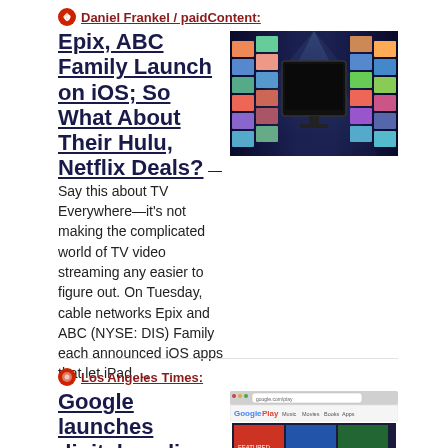Daniel Frankel / paidContent:
Epix, ABC Family Launch on iOS; So What About Their Hulu, Netflix Deals?
[Figure (photo): Photo of a flat-screen TV surrounded by colorful media thumbnails on a dark background]
— Say this about TV Everywhere—it's not making the complicated world of TV video streaming any easier to figure out. On Tuesday, cable networks Epix and ABC (NYSE: DIS) Family each announced iOS apps that let iPad …
Los Angeles Times:
Google launches digital media destination Google Play
[Figure (screenshot): Screenshot of Google Play website showing colorful media content grid]
— Google is ready to play. It's creating a single destination for digital media called Google Play, putting books, music, movies and games all in one spot. It's a bid to build a powerful